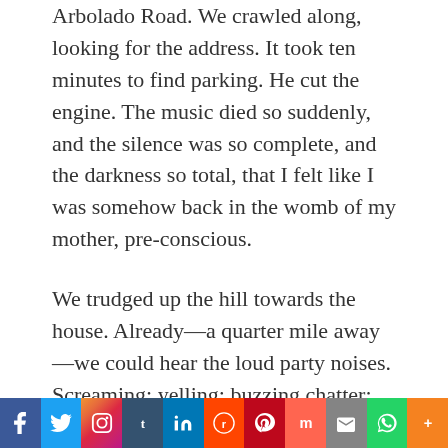Arbolado Road. We crawled along, looking for the address. It took ten minutes to find parking. He cut the engine. The music died so suddenly, and the silence was so complete, and the darkness so total, that I felt like I was somehow back in the womb of my mother, pre-conscious.

We trudged up the hill towards the house. Already—a quarter mile away—we could hear the loud party noises. Screaming; yelling; buzzing chatter; Snoop Dog from The Chronic album. Just before we reached the steep driveway, Tyrell stopped and said,
f  t  Instagram  t  in  reddit  P  m  mail  WhatsApp  +